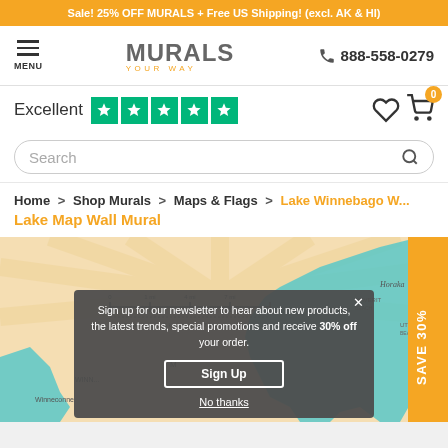Sale! 25% OFF MURALS + Free US Shipping! (excl. AK & HI)
[Figure (logo): Murals Your Way logo with hamburger menu and phone number 888-558-0279]
Excellent ★★★★★
Search
Home > Shop Murals > Maps & Flags > Lake Winnebago W... Lake Map Wall Mural
[Figure (map): Lake Winnebago map wall mural product image showing teal lake against beige/cream background with sunray pattern and surrounding area labels including Horaka, Highland Beach, Utomara, High Cliff State Park]
Sign up for our newsletter to hear about new products, the latest trends, special promotions and receive 30% off your order.
Sign Up
No thanks